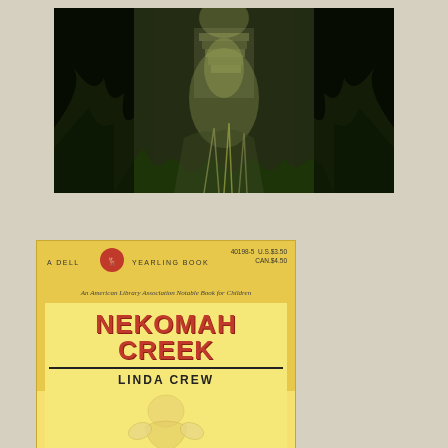[Figure (photo): Forest path with sunlight filtering through trees, steps visible in the background, dense green vegetation on both sides]
Nekomah Creek on Amazon
[Figure (photo): Book cover of 'Nekomah Creek' by Linda Crew. A Dell Yearling Book. An American Library Association Notable Book for Children. Price: U.S. $3.50 / CAN. $4.50. Bold red title text on yellow background with illustration.]